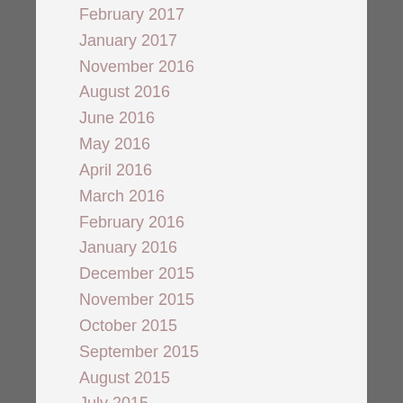February 2017
January 2017
November 2016
August 2016
June 2016
May 2016
April 2016
March 2016
February 2016
January 2016
December 2015
November 2015
October 2015
September 2015
August 2015
July 2015
June 2015
May 2015
April 2015
March 2015